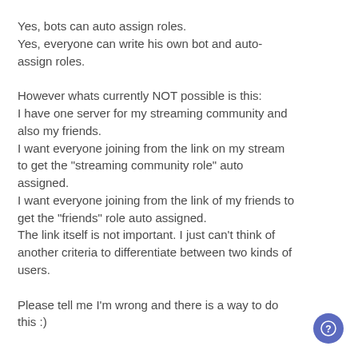Yes, bots can auto assign roles.
Yes, everyone can write his own bot and auto-assign roles.
However whats currently NOT possible is this:
I have one server for my streaming community and also my friends.
I want everyone joining from the link on my stream to get the "streaming community role" auto assigned.
I want everyone joining from the link of my friends to get the "friends" role auto assigned.
The link itself is not important. I just can't think of another criteria to differentiate between two kinds of users.
Please tell me I'm wrong and there is a way to do this :)